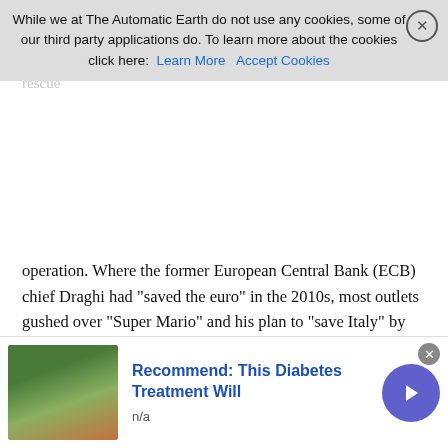McKinsey (Jac.)
Upon its formation last month, Mario Draghi's new government was heralded by almost all Italian and international media as a rescue operation.
operation. Where the former European Central Bank (ECB) chief Draghi had “saved the euro” in the 2010s, most outlets gushed over “Super Mario” and his plan to “save Italy” by splashing a mooted €209 billion in European recovery fund cash while “reforming” its lackluster economy. The kind of “reforms” this meant went unmentioned — and after all, this government bears no relation to voter decisions, or the coalitions that ran in the last general election. But for the fourth time since the 1990s, a president called on a technocrat from the world of finance and banking to form a cabinet, halfway through a parliament. Eight of Draghi’s twenty-three ministers are unelected technocrats, in a so-called government of experts.
If these figures are not party-political, they have similar backgrounds and instincts. Economy minister Daniele Franco is a
While we at The Automatic Earth do not use any cookies, some of our third party applications do. To learn more about the cookies click here:  Learn More  Accept Cookies
[Figure (infographic): Advertisement banner: image of a drink/plant, text 'Recommend: This Diabetes Treatment Will', subtext 'n/a', purple arrow button, close X button]